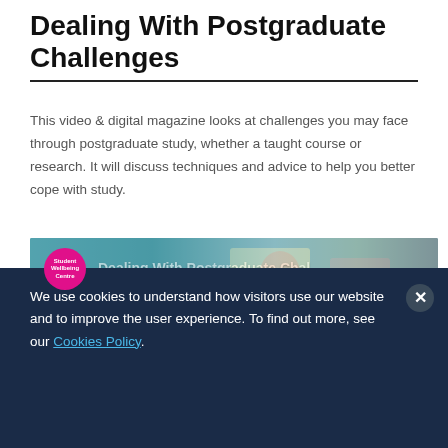Dealing With Postgraduate Challenges
This video & digital magazine looks at challenges you may face through postgraduate study, whether a taught course or research. It will discuss techniques and advice to help you better cope with study.
[Figure (screenshot): Video thumbnail showing animated characters in a classroom setting with 'Student Wellbeing Centre' logo badge and title 'Dealing With Postgraduate Chal...' overlaid]
We use cookies to understand how visitors use our website and to improve the user experience. To find out more, see our Cookies Policy.